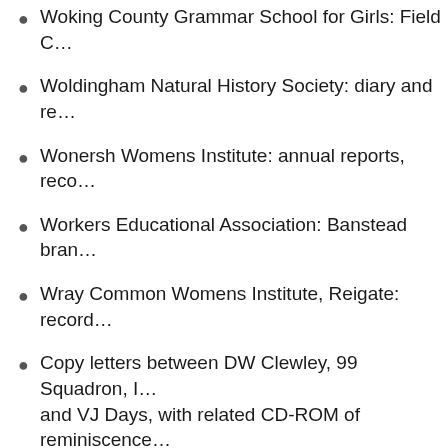Woking County Grammar School for Girls: Field C…
Woldingham Natural History Society: diary and re…
Wonersh Womens Institute: annual reports, reco…
Workers Educational Association: Banstead bran…
Wray Common Womens Institute, Reigate: record…
Copy letters between DW Clewley, 99 Squadron, I… and VJ Days, with related CD-ROM of reminiscence…
Notebooks of surveyor laying out the London an…
West Betchworth manor, transcripts and index of… 1776-1823 (Z/443)
Typescript account of trip to Cumberland by Wok…
Counterfoils for donations to buy equipment for…